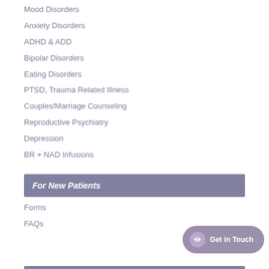Mood Disorders
Anxiety Disorders
ADHD & ADD
Bipolar Disorders
Eating Disorders
PTSD, Trauma Related Illness
Couples/Marriage Counseling
Reproductive Psychiatry
Depression
BR + NAD Infusions
For New Patients
Forms
FAQs